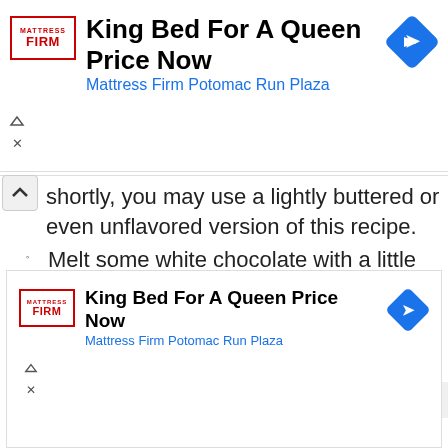[Figure (screenshot): Mattress Firm advertisement banner at top: 'King Bed For A Queen Price Now' with 'Mattress Firm Potomac Run Plaza' in blue, Mattress Firm logo, and blue diamond arrow icon]
hortly, you may use a lightly buttered or even unflavored version of this recipe.
Melt some white chocolate with a little oil in the microwave in 20-second intervals, stirring between each one.
When it's smooth, add in the cake mix and mix well.
[Figure (screenshot): Second Mattress Firm advertisement banner at bottom: 'King Bed For A Queen Price Now' with 'Mattress Firm Potomac Run Plaza' in blue, Mattress Firm logo, and blue diamond arrow icon]